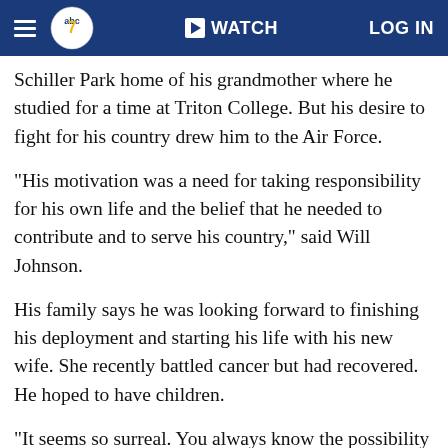abc7 | WATCH | LOG IN
Schiller Park home of his grandmother where he studied for a time at Triton College. But his desire to fight for his country drew him to the Air Force.
"His motivation was a need for taking responsibility for his own life and the belief that he needed to contribute and to serve his country," said Will Johnson.
His family says he was looking forward to finishing his deployment and starting his life with his new wife. She recently battled cancer but had recovered. He hoped to have children.
"It seems so surreal. You always know the possibility is there. It never seems real until it's too late," said Will Johnson.